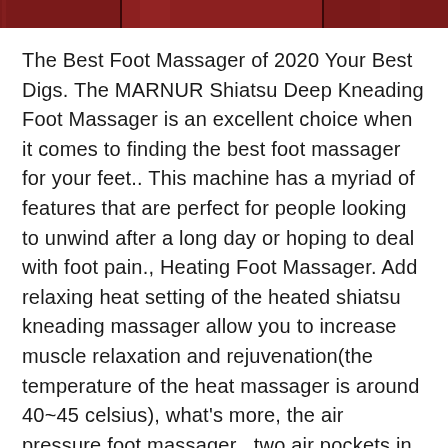[Figure (photo): A partial image strip showing a dark red/maroon background, appears to be a cropped product or lifestyle photo related to a foot massager.]
The Best Foot Massager of 2020 Your Best Digs. The MARNUR Shiatsu Deep Kneading Foot Massager is an excellent choice when it comes to finding the best foot massager for your feet.. This machine has a myriad of features that are perfect for people looking to unwind after a long day or hoping to deal with foot pain., Heating Foot Massager. Add relaxing heat setting of the heated shiatsu kneading massager allow you to increase muscle relaxation and rejuvenation(the temperature of the heat massager is around 40~45 celsius), what's more, the air pressure foot massager , two air pockets in each heel and instep, so you can have a full coverage and deep muscle massage when you use it..